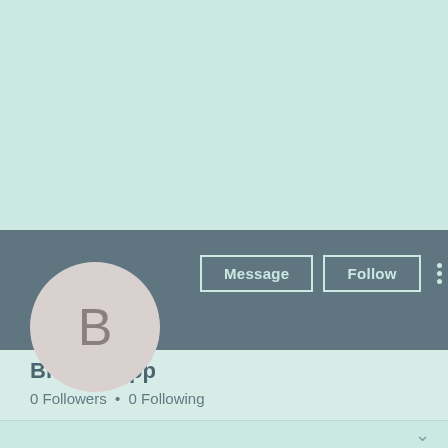[Figure (screenshot): Social media profile page screenshot showing a mint/teal banner background, a dark slate-grey action bar with Message and Follow buttons, a circular avatar with letter B, account name Bitstarz app, and follower counts.]
Bitstarz app
0 Followers • 0 Following